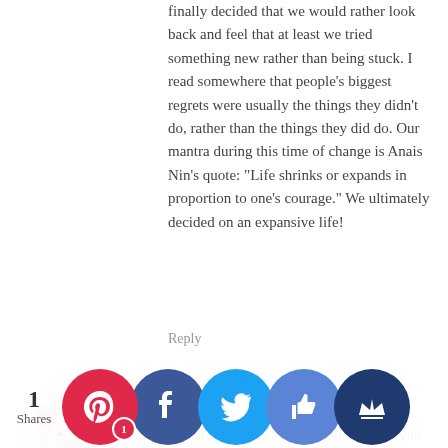finally decided that we would rather look back and feel that at least we tried something new rather than being stuck. I read somewhere that people's biggest regrets were usually the things they didn't do, rather than the things they did do. Our mantra during this time of change is Anais Nin's quote: "Life shrinks or expands in proportion to one's courage." We ultimately decided on an expansive life!
Reply
Jayson @ Monster Piggy Bank
November 11, 2015 at 4:27 am
If that happens to you Frugalwoods, I know you could still surpass this financial challenge because you have a positive perspective and very knowledgeable in creating strategic plans to bounce back.
Reply
Jay
November 12, 2015 at 5:12 am
" Life can't be perfect in any incarnation, so we might as well do what we want." Oh how I love this quote! Thank you for writing this, the v...st, bu...e sent...lly lea... our...ne.